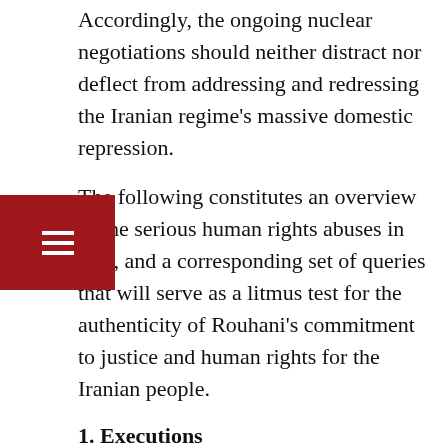Accordingly, the ongoing nuclear negotiations should neither distract nor deflect from addressing and redressing the Iranian regime's massive domestic repression.
The following constitutes an overview of the serious human rights abuses in Iran, and a corresponding set of queries that will serve as a litmus test for the authenticity of Rouhani's commitment to justice and human rights for the Iranian people.
1. Executions
Prior to Rouhani's rise to power, Iran had the highest per capita execution rate in the world. Yet, the alarming rate of executions has actually